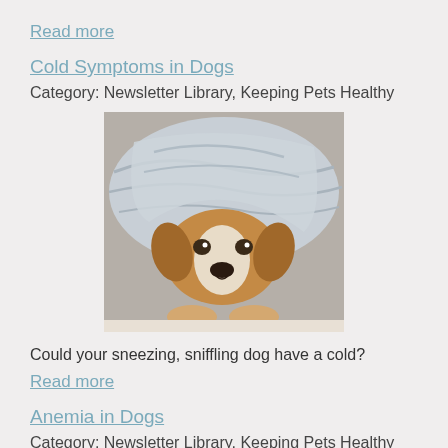Read more
Cold Symptoms in Dogs
Category: Newsletter Library, Keeping Pets Healthy
[Figure (photo): A brown and white dog bundled under a gray blanket, looking sad or sick, resting its chin on its paws.]
Could your sneezing, sniffling dog have a cold?
Read more
Anemia in Dogs
Category: Newsletter Library, Keeping Pets Healthy